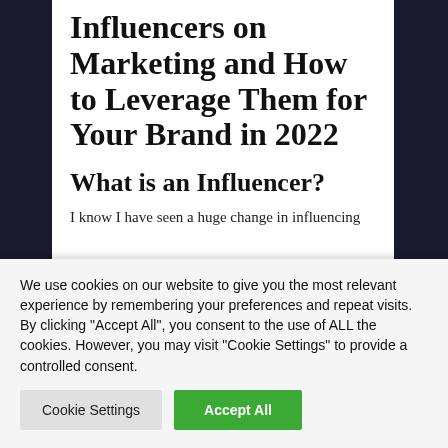Influencers on Marketing and How to Leverage Them for Your Brand in 2022
What is an Influencer?
I know I have seen a huge change in influencing
We use cookies on our website to give you the most relevant experience by remembering your preferences and repeat visits. By clicking "Accept All", you consent to the use of ALL the cookies. However, you may visit "Cookie Settings" to provide a controlled consent.